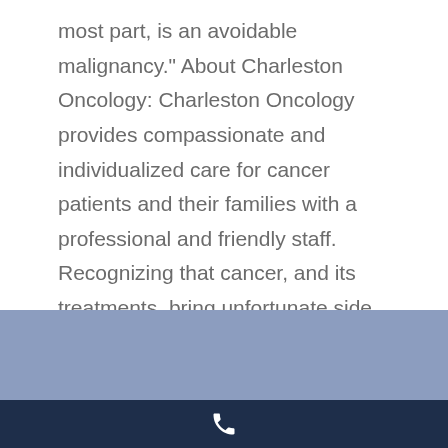most part, is an avoidable malignancy." About Charleston Oncology: Charleston Oncology provides compassionate and individualized care for cancer patients and their families with a professional and friendly staff. Recognizing that cancer, and its treatments, bring unfortunate side effects, they ensure that every patient is as comfortable as possible. If you or a loved one is facing a cancer diagnosis, call Charleston Oncology to learn more about the latest, cutting-edge treatments, which are delivered in a local setting.
[Figure (other): Light blue horizontal footer band followed by dark navy footer band with a white phone icon]